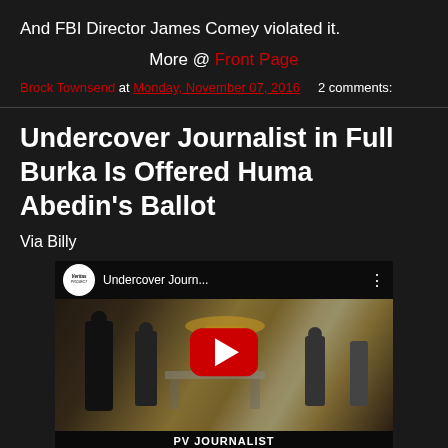And FBI Director James Comey violated it.
More @ Front Page
Brock Townsend at Monday, November 07, 2016   2 comments:
Undercover Journalist in Full Burka Is Offered Huma Abedin's Ballot
Via Billy
[Figure (screenshot): YouTube video thumbnail showing 'Undercover Journ...' with Project Veritas logo circle, a red YouTube play button in center, and 'PV JOURNALIST' text at the bottom, over a scene in what appears to be a polling place.]